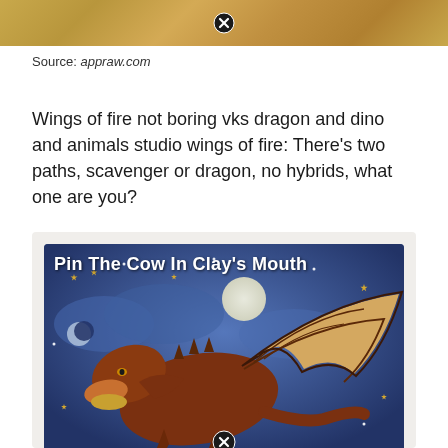[Figure (photo): Top portion of a sandy/earthy textured image with a close button (X circle) in the center]
Source: appraw.com
Wings of fire not boring vks dragon and dino and animals studio wings of fire: There's two paths, scavenger or dragon, no hybrids, what one are you?
[Figure (illustration): App store screenshot showing 'Pin The Cow In Clay's Mouth' game with a brown dragon illustration on a blue starry night sky background with moon and stars. Contains a close button at the bottom.]